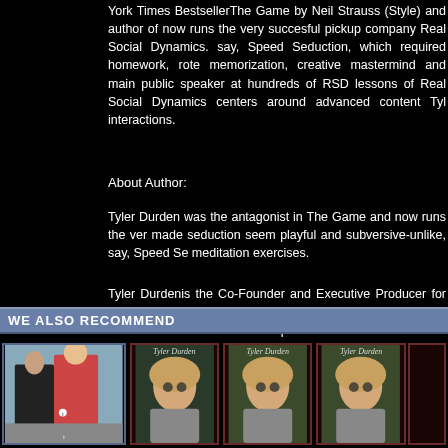York Times BestsellerThe Game by Neil Strauss (Style) and author of now runs the very succesful pickup company Real Social Dynamics. say, Speed Seduction, which required homework, rote memorization, creative mastermind and main public speaker at hundreds of RSD lessons of Real Social Dynamics centers around advanced content Tyl interactions.
About Author:
Tyler Durden was the antagonist in The Game and now runs the ver made seduction seem playful and subversive-unlike, say, Speed Se meditation exercises.
Tyler Durdenis the Co-Founder and Executive Producer for Real Socia speaker at hundreds of RSD seminars worldwide. The foundational p around advanced content Tyler created while traveling the world and a
"Watching and listening to Tyler explain the game was so fascinating community. You have to be prepared to step outside of your comfort groups where women may be with guys, parents, siblings, you name where they answer based on their vast experience and your game d Publisher of Cliff's List from Montreal, Canada
WE ALSO RECOMMEND
[Figure (photo): Four book/product cards side by side: one illustrated cover with two women figures in a city, and three cards showing Tyler Durden with 'Tyler Durden' text at top]
Tyler Durden product cards